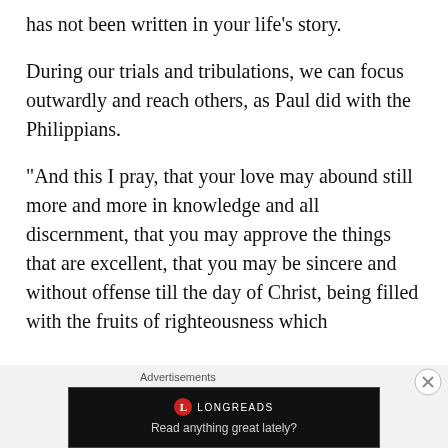has not been written in your life's story.
During our trials and tribulations, we can focus outwardly and reach others, as Paul did with the Philippians.
“And this I pray, that your love may abound still more and more in knowledge and all discernment, that you may approve the things that are excellent, that you may be sincere and without offense till the day of Christ, being filled with the fruits of righteousness which
Advertisements
[Figure (other): Longreads advertisement banner — dark background with Longreads logo (red circle with L) and tagline 'Read anything great lately?']